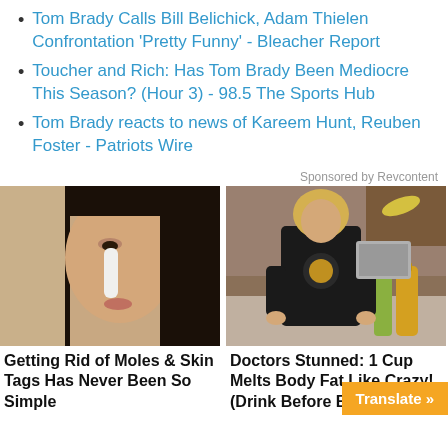Tom Brady Calls Bill Belichick, Adam Thielen Confrontation 'Pretty Funny' - Bleacher Report
Toucher and Rich: Has Tom Brady Been Mediocre This Season? (Hour 3) - 98.5 The Sports Hub
Tom Brady reacts to news of Kareem Hunt, Reuben Foster - Patriots Wire
Sponsored by Revcontent
[Figure (photo): Woman applying something to her nose with a brush]
Getting Rid of Moles & Skin Tags Has Never Been So Simple
[Figure (photo): Blonde woman in a black jacket in a kitchen]
Doctors Stunned: 1 Cup Melts Body Fat Like Crazy! (Drink Before Bed)